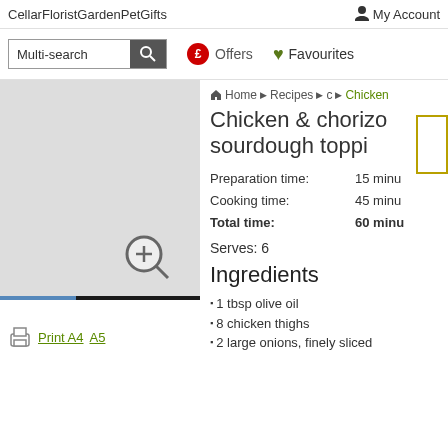Cellar  Florist  Garden  Pet  Gifts  My Account
[Figure (screenshot): Search bar with Multi-search input, magnifying glass button, Offers button with red circle pound sign, Favourites with green heart]
[Figure (photo): Recipe food image placeholder with horizontal bar at bottom]
Home ▶ Recipes ▶ c ▶ Chicken
Chicken & chorizo sourdough toppi
Preparation time: 15 minu
Cooking time: 45 minu
Total time: 60 minu
Serves: 6
Ingredients
1 tbsp olive oil
8 chicken thighs
2 large onions, finely sliced